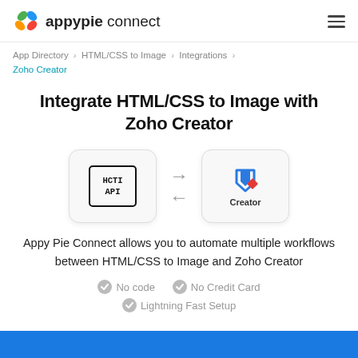appypie connect
App Directory > HTML/CSS to Image > Integrations > Zoho Creator
Integrate HTML/CSS to Image with Zoho Creator
[Figure (illustration): Two app logos (HCTI API and Zoho Creator) with bidirectional arrows between them indicating integration]
Appy Pie Connect allows you to automate multiple workflows between HTML/CSS to Image and Zoho Creator
No code
No Credit Card
Lightning Fast Setup